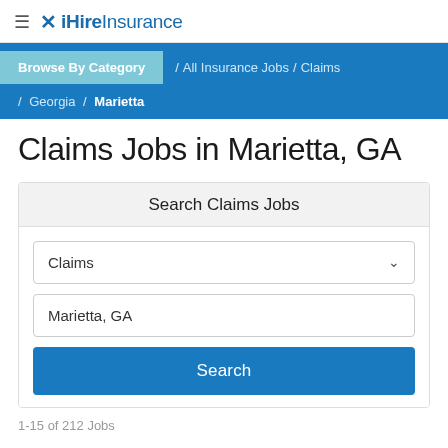iHireInsurance
Browse By Category / All Insurance Jobs / Claims / Georgia / Marietta
Claims Jobs in Marietta, GA
Search Claims Jobs
Claims
Marietta, GA
Search
1-15 of 212 Jobs